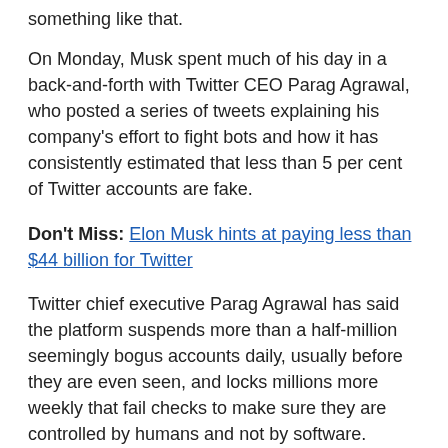something like that.
On Monday, Musk spent much of his day in a back-and-forth with Twitter CEO Parag Agrawal, who posted a series of tweets explaining his company's effort to fight bots and how it has consistently estimated that less than 5 per cent of Twitter accounts are fake.
Don't Miss: Elon Musk hints at paying less than $44 billion for Twitter
Twitter chief executive Parag Agrawal has said the platform suspends more than a half-million seemingly bogus accounts daily, usually before they are even seen, and locks millions more weekly that fail checks to make sure they are controlled by humans and not by software.
Internal measures show that fewer than 5 per cent of accounts active on any given day at Twitter are spam, but there are other measures that reportedly show the proportion can rise above that.